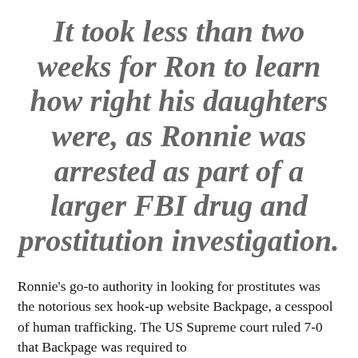It took less than two weeks for Ron to learn how right his daughters were, as Ronnie was arrested as part of a larger FBI drug and prostitution investigation.
Ronnie's go-to authority in looking for prostitutes was the notorious sex hook-up website Backpage, a cesspool of human trafficking. The US Supreme court ruled 7-0 that Backpage was required to